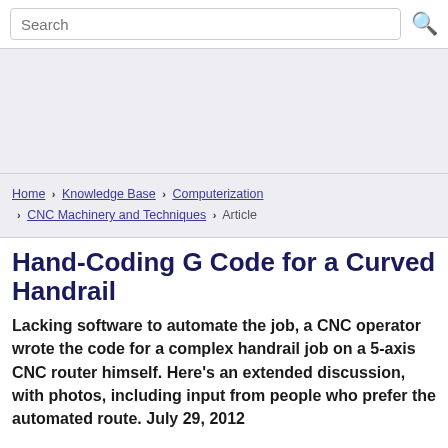Search
[Figure (other): Advertisement banner area (gray background)]
Home › Knowledge Base › Computerization › CNC Machinery and Techniques › Article
Hand-Coding G Code for a Curved Handrail
Lacking software to automate the job, a CNC operator wrote the code for a complex handrail job on a 5-axis CNC router himself. Here's an extended discussion, with photos, including input from people who prefer the automated route. July 29, 2012